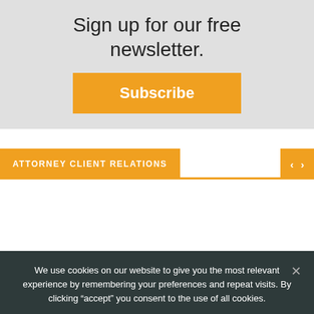Sign up for our free newsletter.
Subscribe
ATTORNEY CLIENT RELATIONS
We use cookies on our website to give you the most relevant experience by remembering your preferences and repeat visits. By clicking “accept” you consent to the use of all cookies.
Accept
Privacy policy